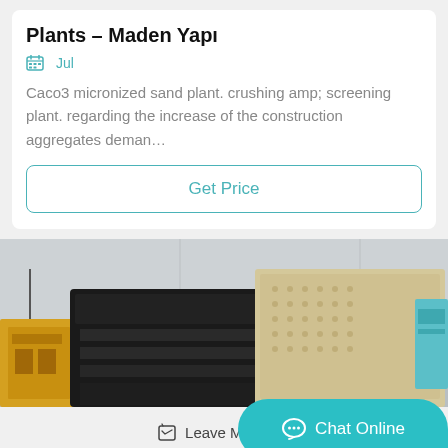Plants – Maden Yapı
Jul
Caco3 micronized sand plant. crushing amp; screening plant. regarding the increase of the construction aggregates deman…
Get Price
[Figure (photo): Industrial machinery photo showing black metal components and a beige/cream colored large industrial screen or sieve equipment inside a warehouse or factory building. Yellow machinery visible on the left side. A blue container visible on the right.]
Leave Message
Chat Online